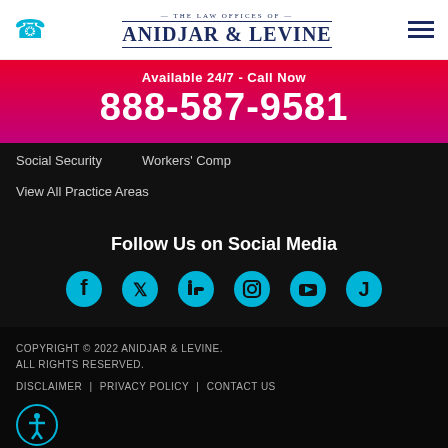The Law Offices of Anidjar & Levine
Available 24/7 - Call Now
888-587-9581
Social Security   Workers' Comp
View All Practice Areas
Follow Us on Social Media
[Figure (illustration): Social media icons: Facebook, Twitter, LinkedIn, Instagram, YouTube, Justia]
COPYRIGHT © 2022 ANIDJAR & LEVINE. ALL RIGHTS RESERVED.
DISCLAIMER | PRIVACY POLICY | CONTACT US